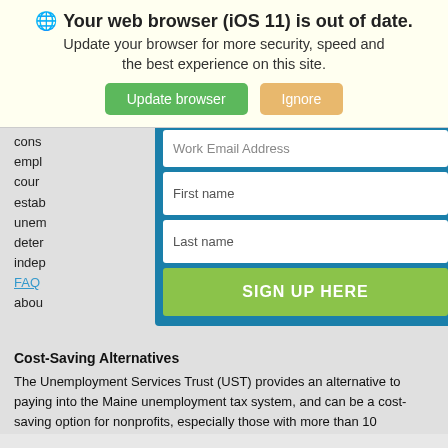Your web browser (iOS 11) is out of date. Update your browser for more security, speed and the best experience on this site.
[Figure (screenshot): Browser update notification banner with 'Update browser' (green) and 'Ignore' (tan) buttons, and a sign-up form with Work Email Address, First name, Last name fields and a green 'SIGN UP HERE' button on blue background]
Cost-Saving Alternatives
The Unemployment Services Trust (UST) provides an alternative to paying into the Maine unemployment tax system, and can be a cost-saving option for nonprofits, especially those with more than 10 employees. Through UST, agencies directly reimburse the state only for the claims of their former employees, rather than paying the state unemployment insurance tax which covers all Maine employees. (You didn't think we'd take this one out, did you?)